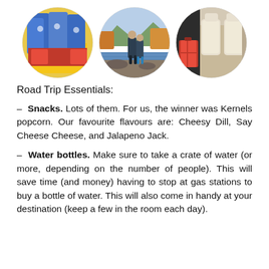[Figure (photo): Three circular cropped photos in a row: left shows bags of Kernels popcorn stacked in yellow carts, middle shows a couple standing by a river in autumn, right shows car interior with luggage in the back seat.]
Road Trip Essentials:
– Snacks. Lots of them. For us, the winner was Kernels popcorn. Our favourite flavours are: Cheesy Dill, Say Cheese Cheese, and Jalapeno Jack.
– Water bottles. Make sure to take a crate of water (or more, depending on the number of people). This will save time (and money) having to stop at gas stations to buy a bottle of water. This will also come in handy at your destination (keep a few in the room each day).